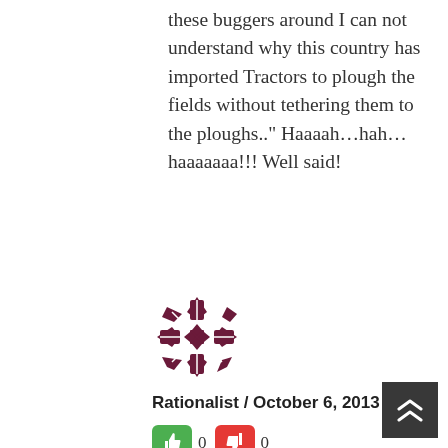these buggers around I can not understand why this country has imported Tractors to plough the fields without tethering them to the ploughs.." Haaaah…hah…haaaaaaa!!! Well said!
[Figure (illustration): Purple geometric/floral avatar pattern in a square]
Rationalist / October 6, 2013
[Figure (infographic): Green thumbs-up vote button showing 0, Red thumbs-down vote button showing 0]
Yes Ela Kolla. Can you show me a true ‘Sinhalese, Practising Buddhist’ in this ‘Sinhalese, Buddhist